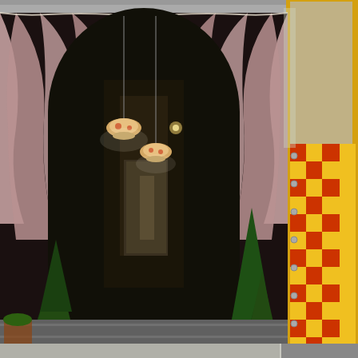[Figure (photo): Photograph of a restaurant or shop entrance with dark interior visible through an arched opening framed by draped pink/mauve curtains with lace trim and decorative pendant lights with floral lampshades. Evergreen shrubs are visible near the entrance steps. On the right side is a yellow and red checkered banner/flag and a clear plastic curtain with yellow border trim. The scene appears to be an outdoor covered entrance or patio area.]